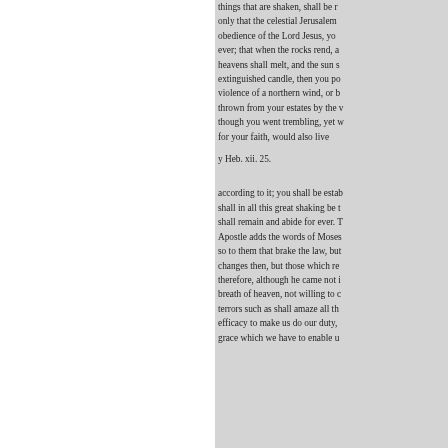things that are shaken, shall be … only that the celestial Jerusalem … obedience of the Lord Jesus, you … ever; that when the rocks rend, a… heavens shall melt, and the sun s… extinguished candle, then you po… violence of a northern wind, or b… thrown from your estates by the … though you went trembling, yet w… for your faith, would also live
y Heb. xii. 25.
according to it; you shall be estab… shall in all this great shaking be t… shall remain and abide for ever. T… Apostle adds the words of Moses … so to them that brake the law, but… changes then, but those which re… therefore, although he came not i… breath of heaven, not willing to c… terrors such as shall amaze all th… efficacy to make us do our duty, … grace which we have to enable u…